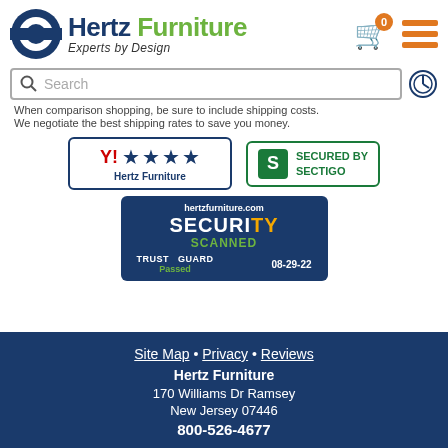[Figure (logo): Hertz Furniture logo with circular H icon, brand name in dark blue and green, tagline Experts by Design]
[Figure (illustration): Shopping cart icon with 0 badge and hamburger menu in orange]
[Figure (screenshot): Search bar with magnifying glass icon and Search placeholder text, with history/clock icon]
When comparison shopping, be sure to include shipping costs.
We negotiate the best shipping rates to save you money.
[Figure (illustration): Yahoo 4-star rating badge for Hertz Furniture with blue stars and border]
[Figure (illustration): Secured by Sectigo badge with green S icon and text SECURED BY SECTIGO]
[Figure (illustration): Trust Guard Security Scanned badge for hertzfurniture.com, passed 08-29-22]
Site Map • Privacy • Reviews
Hertz Furniture
170 Williams Dr Ramsey
New Jersey 07446
800-526-4677